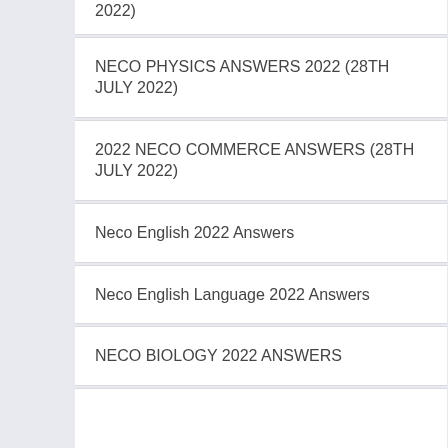2022)
NECO PHYSICS ANSWERS 2022 (28TH JULY 2022)
2022 NECO COMMERCE ANSWERS (28TH JULY 2022)
Neco English 2022 Answers
Neco English Language 2022 Answers
NECO BIOLOGY 2022 ANSWERS